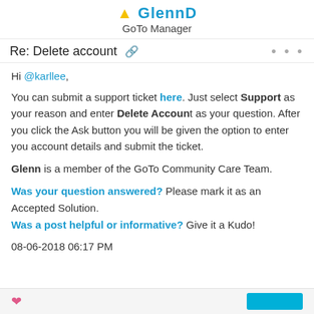GlennD GoTo Manager
Re: Delete account
Hi @karllee,
You can submit a support ticket here. Just select Support as your reason and enter Delete Account as your question. After you click the Ask button you will be given the option to enter you account details and submit the ticket.
Glenn is a member of the GoTo Community Care Team.
Was your question answered? Please mark it as an Accepted Solution.
Was a post helpful or informative? Give it a Kudo!
08-06-2018 06:17 PM